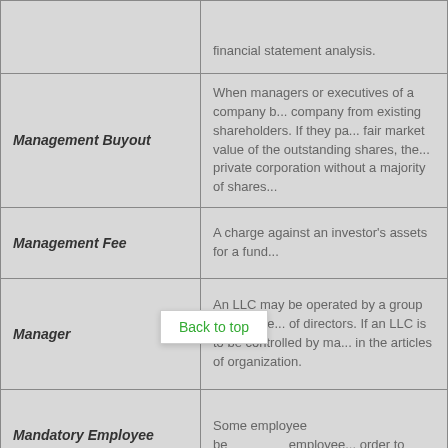| Term | Definition |
| --- | --- |
|  | financial statement analysis. |
| Management Buyout | When managers or executives of a company b... company from existing shareholders. If they pa... fair market value of the outstanding shares, the... private corporation without a majority of shares... |
| Management Fee | A charge against an investor's assets for a fund... |
| Manager | An LLC may be operated by a group of manage... of directors. If an LLC is to be controlled by ma... in the articles of organization. |
| Mandatory Employee Contribution | Some employee be... employee... order to accrue benefits. |
| Market Risk | The portion of a security's risk common to all se... class. Market risk cannot be eliminated through... |
|  |  |